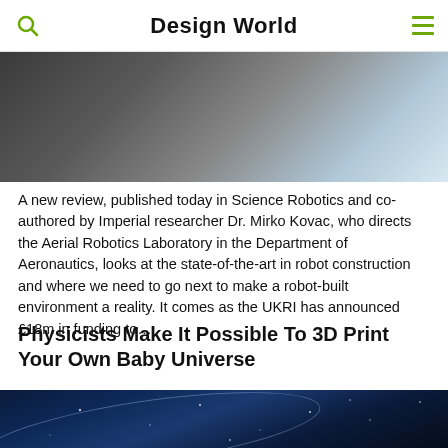Design World
[Figure (photo): Close-up photo of hands working with robotic or mechanical components, blurred background with gray and light tones]
A new review, published today in Science Robotics and co-authored by Imperial researcher Dr. Mirko Kovac, who directs the Aerial Robotics Laboratory in the Department of Aeronautics, looks at the state-of-the-art in robot construction and where we need to go next to make a robot-built environment a reality. It comes as the UKRI has announced £18m in funding to…
Physicists Make It Possible To 3D Print Your Own Baby Universe
[Figure (photo): Dark space/universe image with blue tones, showing stars and a curved arc of light suggesting a cosmic or planetary scene]